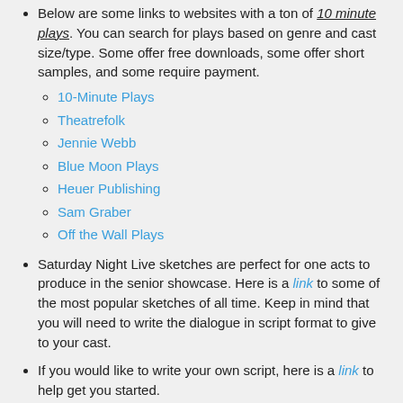Below are some links to websites with a ton of 10 minute plays. You can search for plays based on genre and cast size/type. Some offer free downloads, some offer short samples, and some require payment.
10-Minute Plays
Theatrefolk
Jennie Webb
Blue Moon Plays
Heuer Publishing
Sam Graber
Off the Wall Plays
Saturday Night Live sketches are perfect for one acts to produce in the senior showcase. Here is a link to some of the most popular sketches of all time. Keep in mind that you will need to write the dialogue in script format to give to your cast.
If you would like to write your own script, here is a link to help get you started.